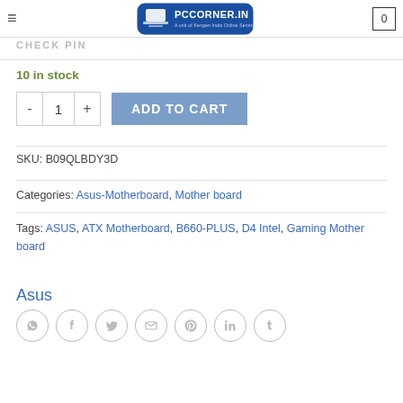[Figure (logo): PCCorner.in logo — blue rounded rectangle with laptop graphic and text 'PCCORNER.IN', subtitle 'A unit of Kengen India Online Services']
CHECK PING
10 in stock
ADD TO CART
SKU: B09QLBDY3D
Categories: Asus-Motherboard, Mother board
Tags: ASUS, ATX Motherboard, B660-PLUS, D4 Intel, Gaming Mother board
Asus
[Figure (infographic): Row of 7 circular social share icons: WhatsApp, Facebook, Twitter, Email, Pinterest, LinkedIn, Tumblr]